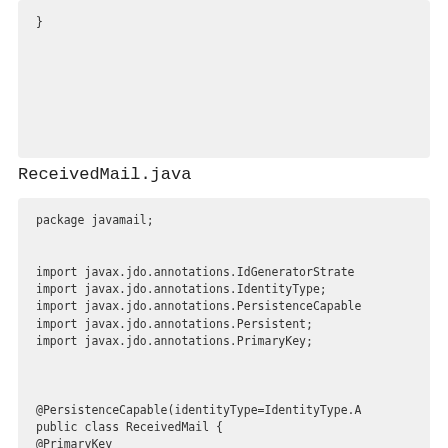}
ReceivedMail.java
package javamail;

import javax.jdo.annotations.IdGeneratorStrategy;
import javax.jdo.annotations.IdentityType;
import javax.jdo.annotations.PersistenceCapable;
import javax.jdo.annotations.Persistent;
import javax.jdo.annotations.PrimaryKey;


@PersistenceCapable(identityType=IdentityType.A
public class ReceivedMail {
@PrimaryKey
@Persistent(valueStrategy=IdGeneratorStrategy.